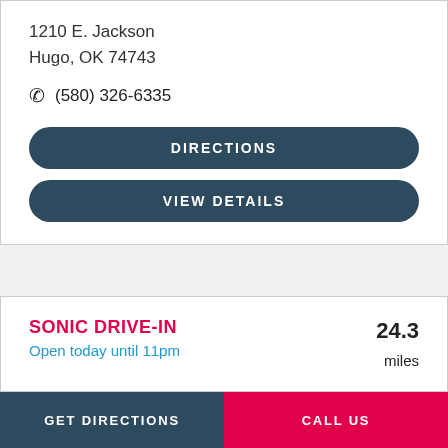1210 E. Jackson
Hugo, OK 74743
(580) 326-6335
DIRECTIONS
VIEW DETAILS
SONIC DRIVE-IN
Open today until 11pm
24.3 miles
1812 West Main
Clarksville, TX 75426
(903) 427-5551
GET DIRECTIONS   CALL US